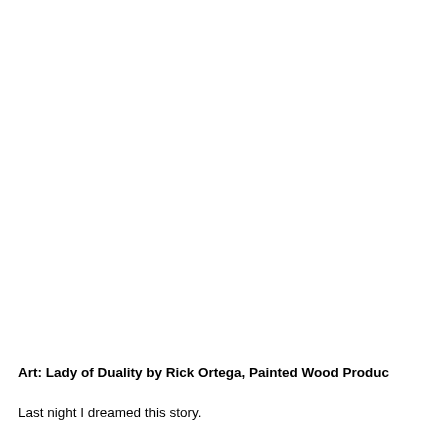Art: Lady of Duality by Rick Ortega, Painted Wood Produc…
Last night I dreamed this story.